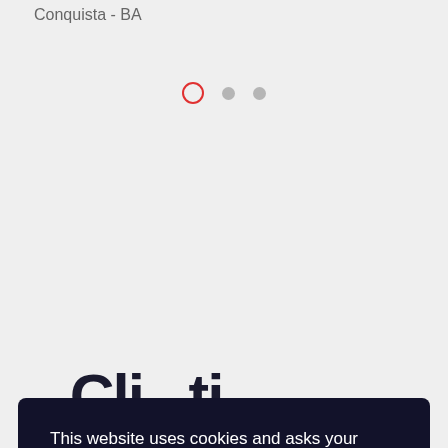Conquista - BA
[Figure (other): Carousel pagination dots: one active (red outline), two inactive (gray filled)]
This website uses cookies and asks your personal data to enhance your browsing experience. / Este site usa cookies e solicita seus dados pessoais para melhorar a sua experiência de navegação.
I AGREE / EU ACEITO
PRIVACY POLICY
[Figure (logo): Embrapa logo — green background with white italic text 'rapa']